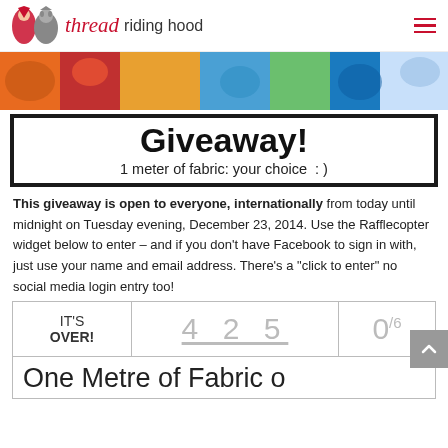thread riding hood
[Figure (photo): Colourful fabric strips at top of giveaway banner]
Giveaway!
1 meter of fabric: your choice  : )
This giveaway is open to everyone, internationally from today until midnight on Tuesday evening, December 23, 2014. Use the Rafflecopter widget below to enter – and if you don't have Facebook to sign in with, just use your name and email address. There's a "click to enter" no social media login entry too!
|  | 425 | 0/6 |
| --- | --- | --- |
| IT'S OVER! | 425 | 0/6 |
One Metre of Fabric o